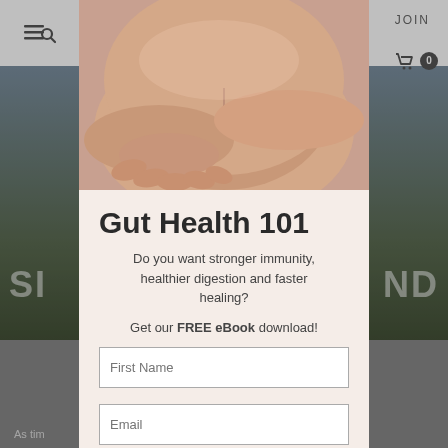JOIN   ≡🔍   🛒 0
[Figure (photo): Close-up photo of a person's bare abdomen with hands resting near the navel, suggesting gut/digestive health imagery]
Gut Health 101
Do you want stronger immunity, healthier digestion and faster healing?
Get our FREE eBook download!
First Name
Email
GET IT HERE